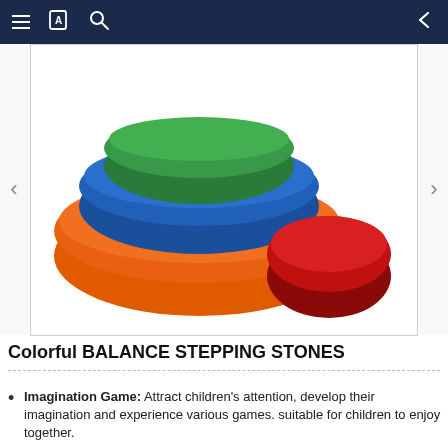☰  [book icon]  🔍  ←
[Figure (photo): Stacked colorful balance stepping stones (green on top, blue in middle, orange on bottom) and a separate red oval stepping stone on white background]
Colorful BALANCE STEPPING STONES
Imagination Game: Attract children's attention, develop their imagination and experience various games. suitable for children to enjoy together.
Promote Balance and Coordination – This 5-piece Stackable Stepping Stone set promotes physical activity and active play, inspiring your child to jump, stretch, climb, and balance for full-body exercise.
Stackable, Space-Saving Design – When not in use these Kids Stepping